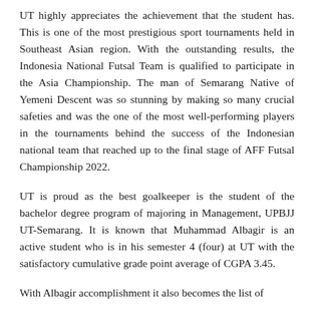UT highly appreciates the achievement that the student has. This is one of the most prestigious sport tournaments held in Southeast Asian region. With the outstanding results, the Indonesia National Futsal Team is qualified to participate in the Asia Championship. The man of Semarang Native of Yemeni Descent was so stunning by making so many crucial safeties and was the one of the most well-performing players in the tournaments behind the success of the Indonesian national team that reached up to the final stage of AFF Futsal Championship 2022.
UT is proud as the best goalkeeper is the student of the bachelor degree program of majoring in Management, UPBJJ UT-Semarang. It is known that Muhammad Albagir is an active student who is in his semester 4 (four) at UT with the satisfactory cumulative grade point average of CGPA 3.45.
With Albagir accomplishment it also becomes the list of